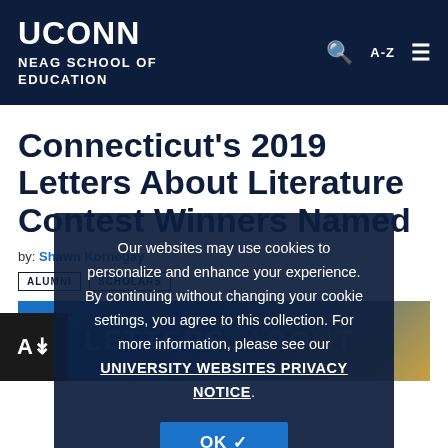UCONN NEAG SCHOOL OF EDUCATION
Connecticut's 2019 Letters About Literature Contest Winners Named
by: Shawn Kornegay
ALUMNI
SCHOLARS
[Figure (photo): Letters About Literature promotional image with UCONN branding]
Our websites may use cookies to personalize and enhance your experience. By continuing without changing your cookie settings, you agree to this collection. For more information, please see our UNIVERSITY WEBSITES PRIVACY NOTICE.